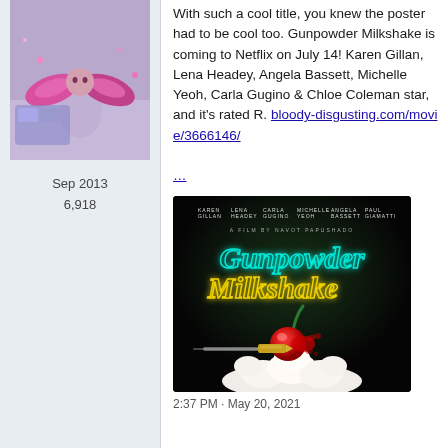[Figure (photo): Profile image of user with pink/purple illustrated character, partially visible]
Sep 2013
6,918
With such a cool title, you knew the poster had to be cool too. Gunpowder Milkshake is coming to Netflix on July 14! Karen Gillan, Lena Headey, Angela Bassett, Michelle Yeoh, Carla Gugino & Chloe Coleman star, and it's rated R. bloody-disgusting.com/movie/3666146/

...
[Figure (photo): Movie poster for Gunpowder Milkshake — dark background with neon teal/yellow stylized title text, a cherry being hit by a bullet over whipped cream. Cast names listed at top: Karen Gillan, Lena Headey, Carla Gugino, Michelle Yeoh, Angela Bassett, Paul Giamatti.]
2:37 PM · May 20, 2021